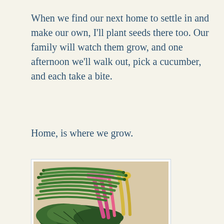When we find our next home to settle in and make our own, I'll plant seeds there too. Our family will watch them grow, and one afternoon we'll walk out, pick a cucumber, and each take a bite.
Home, is where we grow.
[Figure (photo): Photo of fresh garden vegetables on a light surface: a bundle of green beans on top, rainbow chard with pink and yellow stems, and large dark green leafy greens below.]